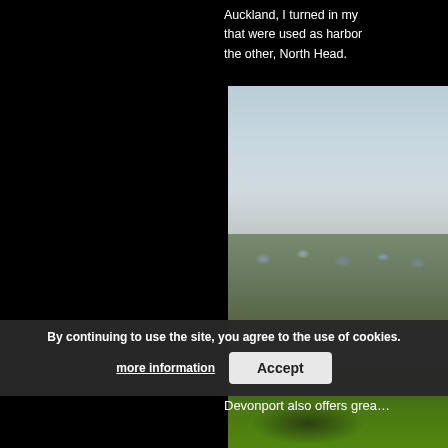Auckland, I turned in my … that were used as harbor … the other, North Head.
[Figure (photo): Aerial view of Devonport suburb, Auckland, showing residential houses, trees, and green foreground with harbour in background under partly cloudy sky]
By continuing to use the site, you agree to the use of cookies.
more information
Accept
Devonport also offers grea…